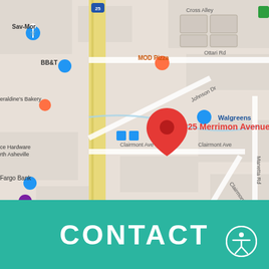[Figure (map): Google Maps screenshot showing 825 Merrimon Avenue in Asheville, NC. Visible landmarks include BB&T, Sav-Mor, MOD Pizza, Geraldine's Bakery, Walgreens, Avenue M, Wells Fargo Bank, Ace Hardware North Asheville. Streets include Ottari Rd, Johnson Dr, Clairmont Ave, Manetta Rd. A red pin marks 825 Merrimon Avenue. Route 25 runs vertically in yellow.]
CONTACT